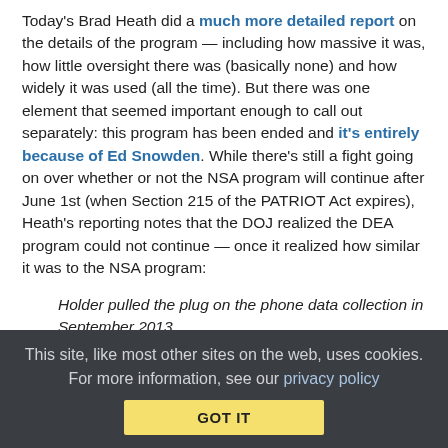Today's Brad Heath did a much more detailed report on the details of the program — including how massive it was, how little oversight there was (basically none) and how widely it was used (all the time). But there was one element that seemed important enough to call out separately: this program has been ended and it's entirely because of Ed Snowden. While there's still a fight going on over whether or not the NSA program will continue after June 1st (when Section 215 of the PATRIOT Act expires), Heath's reporting notes that the DOJ realized the DEA program could not continue — once it realized how similar it was to the NSA program:
Holder pulled the plug on the phone data collection in September 2013.
That summer, Snowden leaked a remarkable series of classified documents detailing some of the government's most prized surveillance secrets,
This site, like most other sites on the web, uses cookies. For more information, see our privacy policy  GOT IT